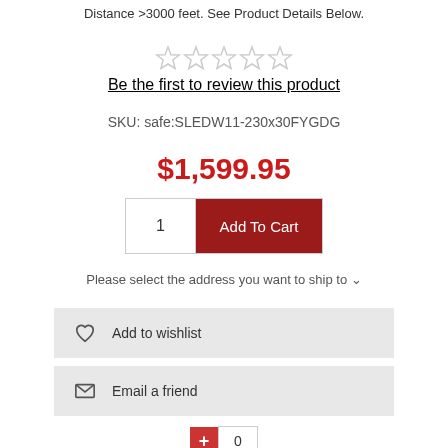Distance >3000 feet. See Product Details Below.
[Figure (other): Five empty star rating icons (unrated/grey)]
Be the first to review this product
SKU: safe:SLEDW11-230x30FYGDG
$1,599.95
1  Add To Cart
Please select the address you want to ship to
Add to wishlist
Email a friend
+ 0